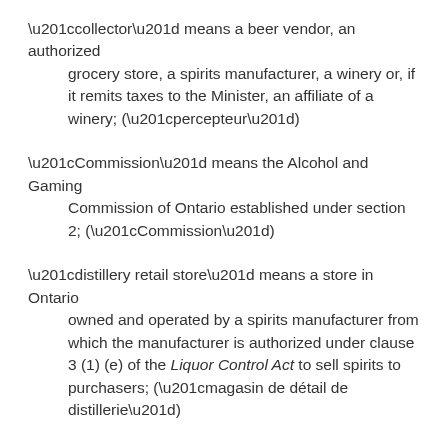“collector” means a beer vendor, an authorized grocery store, a spirits manufacturer, a winery or, if it remits taxes to the Minister, an affiliate of a winery; (“percepteur”)
“Commission” means the Alcohol and Gaming Commission of Ontario established under section 2; (“Commission”)
“distillery retail store” means a store in Ontario owned and operated by a spirits manufacturer from which the manufacturer is authorized under clause 3 (1) (e) of the Liquor Control Act to sell spirits to purchasers; (“magasin de détail de distillerie”)